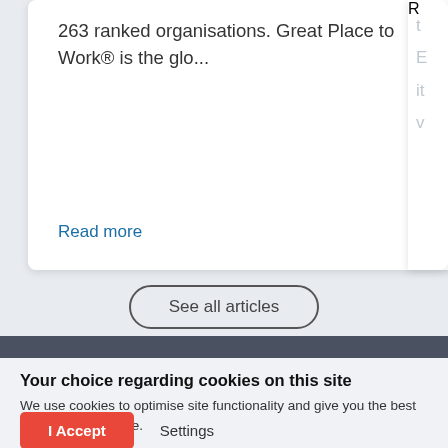263 ranked organisations. Great Place to Work® is the glo...
Read more
See all articles
Your choice regarding cookies on this site
We use cookies to optimise site functionality and give you the best possible experience.
I Accept
Settings